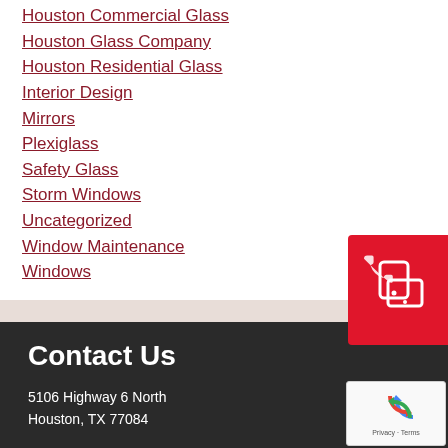Houston Commercial Glass
Houston Glass Company
Houston Residential Glass
Interior Design
Mirrors
Plexiglass
Safety Glass
Storm Windows
Uncategorized
Window Maintenance
Windows
[Figure (other): Red call/phone button widget with phone and tablet icon]
Contact Us
5106 Highway 6 North
Houston, TX 77084
[Figure (other): Google reCAPTCHA widget with recycling arrow logo and Privacy - Terms text]